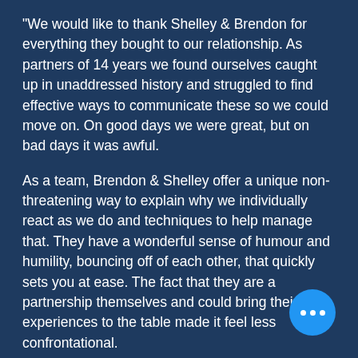"We would like to thank Shelley & Brendon for everything they bought to our relationship. As partners of 14 years we found ourselves caught up in unaddressed history and struggled to find effective ways to communicate these so we could move on. On good days we were great, but on bad days it was awful.

As a team, Brendon & Shelley offer a unique non-threatening way to explain why we individually react as we do and techniques to help manage that. They have a wonderful sense of humour and humility, bouncing off of each other, that quickly sets you at ease. The fact that they are a partnership themselves and could bring their own experiences to the table made it feel less confrontational.

We were encouraged to be honest about our feelings and taught ways to express ourselves without being accusatory.